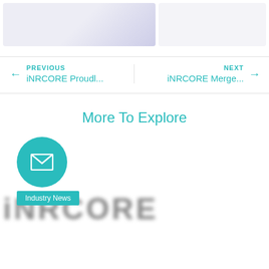[Figure (illustration): Two image thumbnails side by side at top of page — left is a wide gradient/illustrated card, right is a plain light card]
← PREVIOUS
iNRCORE Proudl...
NEXT →
iNRCORE Merge...
More To Explore
[Figure (illustration): Circular teal button with white envelope/mail icon, and an Industry News teal tag label below it, over a blurred text image]
Industry News